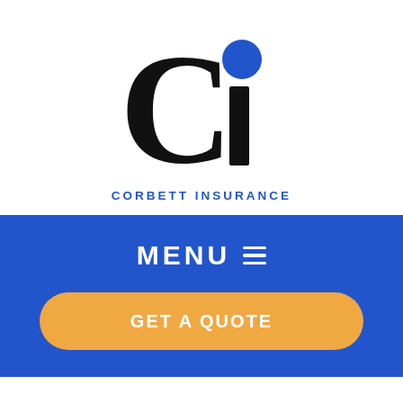[Figure (logo): Corbett Insurance logo: large black 'C' with a smaller black 'i' and a blue filled circle dot above the 'i', followed by 'CORBETT INSURANCE' in blue spaced uppercase letters below]
MENU ≡
GET A QUOTE
Home > Insurance Blog > Celebrate Small Business Saturday